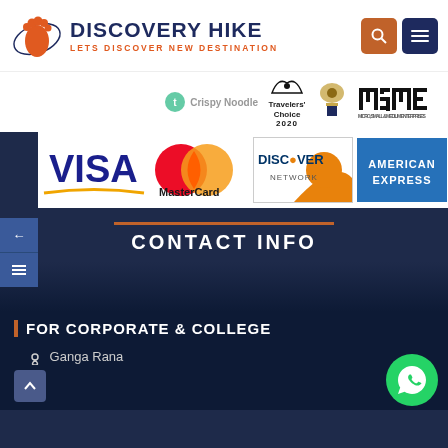[Figure (logo): Discovery Hike logo with orange footprint icon, dark blue text 'DISCOVERY HIKE' and orange subtitle 'LETS DISCOVER NEW DESTINATION']
[Figure (logo): TripAdvisor Travelers' Choice 2020, Government of India emblem, MSME logo badges strip]
[Figure (logo): Payment methods banner showing VISA, MasterCard, Discover Network, and American Express logos]
CONTACT INFO
FOR CORPORATE & COLLEGE
Ganga Rana